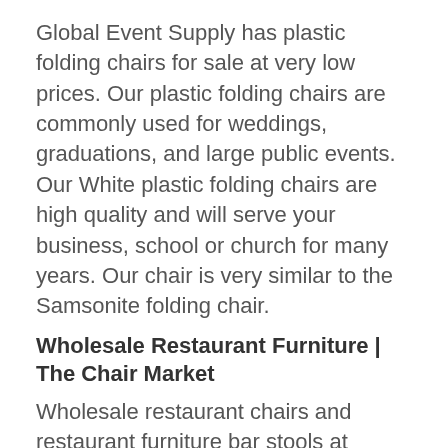Global Event Supply has plastic folding chairs for sale at very low prices. Our plastic folding chairs are commonly used for weddings, graduations, and large public events. Our White plastic folding chairs are high quality and will serve your business, school or church for many years. Our chair is very similar to the Samsonite folding chair.
Wholesale Restaurant Furniture | The Chair Market
Wholesale restaurant chairs and restaurant furniture bar stools at factory direct discount prices. All chairs are designed and built with quality in the start of the manufacturing process. Restaurant furniture needs to be built for long-lasting use and able to withstand high-frequency use. wood and metal combination chairs and bar stools are.
Amazon.com: Patio Bistro Set, Outdoor Patio